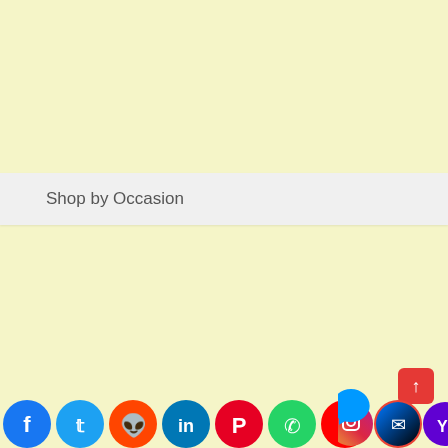Shop by Occasion
[Figure (infographic): Row of social media sharing icons at the bottom: Facebook (blue), Twitter (light blue), Reddit (orange), LinkedIn (dark blue), Pinterest (red), WhatsApp (green), YouTube (red), Gmail (red/white envelope), Instagram (purple/orange gradient), Messenger (blue gradient), Yahoo (purple). A red scroll-to-top button with an upward arrow is positioned above the row on the right side.]